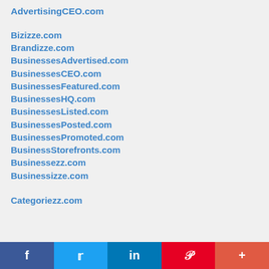AdvertisingCEO.com
Bizizze.com
Brandizze.com
BusinessesAdvertised.com
BusinessesCEO.com
BusinessesFeatured.com
BusinessesHQ.com
BusinessesListed.com
BusinessesPosted.com
BusinessesPromoted.com
BusinessStorefronts.com
Businessezz.com
Businessizze.com
Categoriezz.com